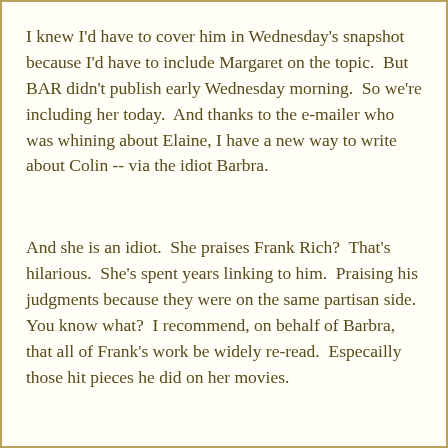I knew I'd have to cover him in Wednesday's snapshot because I'd have to include Margaret on the topic.  But BAR didn't publish early Wednesday morning.  So we're including her today.  And thanks to the e-mailer who was whining about Elaine, I have a new way to write about Colin -- via the idiot Barbra.
And she is an idiot.  She praises Frank Rich?  That's hilarious.  She's spent years linking to him.  Praising his judgments because they were on the same partisan side.  You know what?  I recommend, on behalf of Barbra, that all of Frank's work be widely re-read.  Especailly those hit pieces he did on her movies.
Now I can look the other way here on some things.